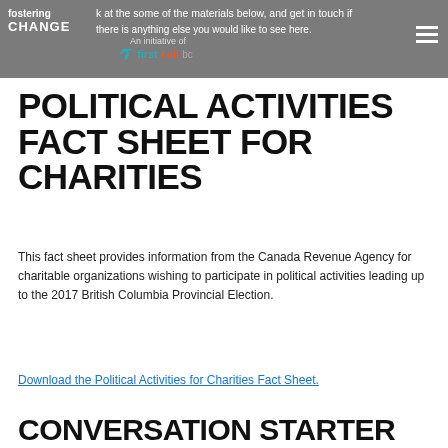fostering CHANGE | An initiative of first call BC | look at the some of the materials below, and get in touch if there is anything else you would like to see here.
POLITICAL ACTIVITIES FACT SHEET FOR CHARITIES
This fact sheet provides information from the Canada Revenue Agency for charitable organizations wishing to participate in political activities leading up to the 2017 British Columbia Provincial Election.
Download the Political Activities for Charities Fact Sheet.
CONVERSATION STARTER GUIDE